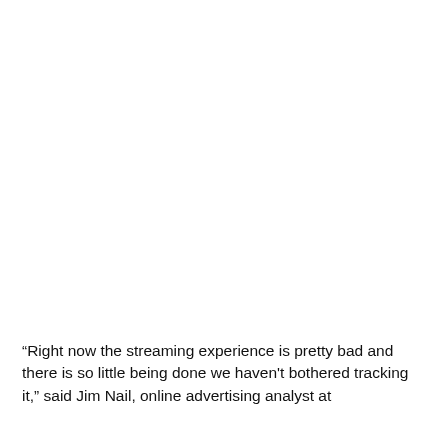“Right now the streaming experience is pretty bad and there is so little being done we haven't bothered tracking it,” said Jim Nail, online advertising analyst at